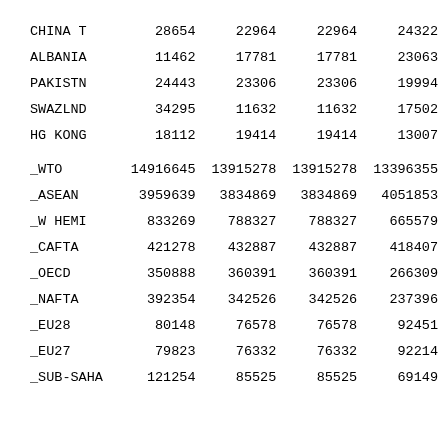| Country/Group | Col1 | Col2 | Col3 | Col4 |
| --- | --- | --- | --- | --- |
| CHINA T | 28654 | 22964 | 22964 | 24322 |
| ALBANIA | 11462 | 17781 | 17781 | 23063 |
| PAKISTN | 24443 | 23306 | 23306 | 19994 |
| SWAZLND | 34295 | 11632 | 11632 | 17502 |
| HG KONG | 18112 | 19414 | 19414 | 13007 |
| _WTO | 14916645 | 13915278 | 13915278 | 13396355 |
| _ASEAN | 3959639 | 3834869 | 3834869 | 4051853 |
| _W HEMI | 833269 | 788327 | 788327 | 665579 |
| _CAFTA | 421278 | 432887 | 432887 | 418407 |
| _OECD | 350888 | 360391 | 360391 | 266309 |
| _NAFTA | 392354 | 342526 | 342526 | 237396 |
| _EU28 | 80148 | 76578 | 76578 | 92451 |
| _EU27 | 79823 | 76332 | 76332 | 92214 |
| _SUB-SAHA | 121254 | 85525 | 85525 | 69149 |